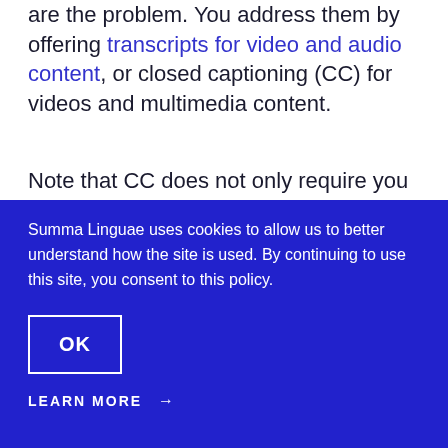are the problem. You address them by offering transcripts for video and audio content, or closed captioning (CC) for videos and multimedia content.
Note that CC does not only require you to
Summa Linguae uses cookies to allow us to better understand how the site is used. By continuing to use this site, you consent to this policy.
OK
LEARN MORE →